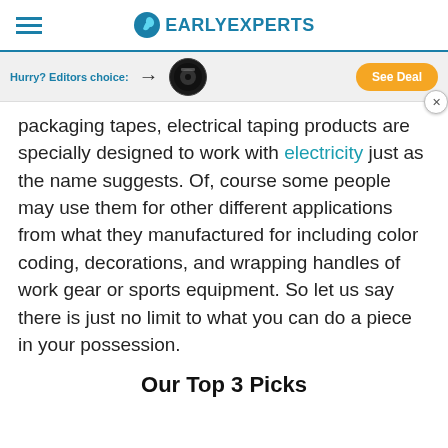EARLYEXPERTS
[Figure (other): Ad banner: Hurry? Editors choice: with arrow, tape product image, and orange See Deal button]
packaging tapes, electrical taping products are specially designed to work with electricity just as the name suggests. Of, course some people may use them for other different applications from what they manufactured for including color coding, decorations, and wrapping handles of work gear or sports equipment. So let us say there is just no limit to what you can do a piece in your possession.
Our Top 3 Picks